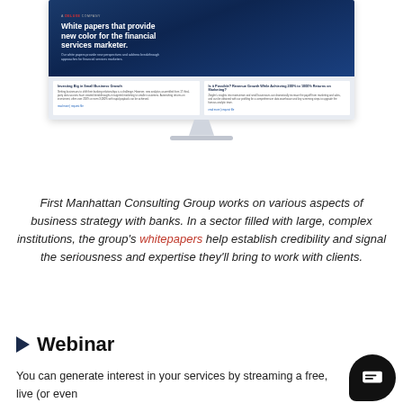[Figure (screenshot): Screenshot of a website showing white papers section with dark blue header reading 'White papers that provide new color for the financial services marketer.' and two white paper cards below on a light background, displayed on a desktop monitor.]
First Manhattan Consulting Group works on various aspects of business strategy with banks. In a sector filled with large, complex institutions, the group's whitepapers help establish credibility and signal the seriousness and expertise they'll bring to work with clients.
Webinar
You can generate interest in your services by streaming a free, live (or even